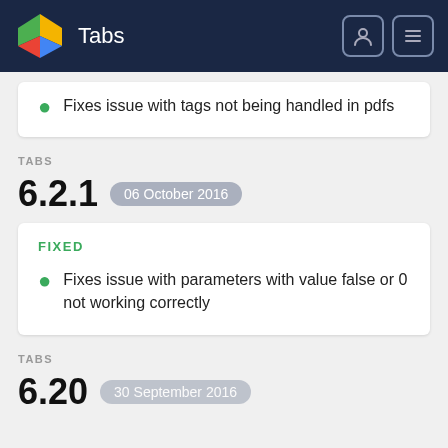Tabs
Fixes issue with tags not being handled in pdfs
TABS
6.2.1  06 October 2016
FIXED
Fixes issue with parameters with value false or 0 not working correctly
TABS
6.20  30 September 2016